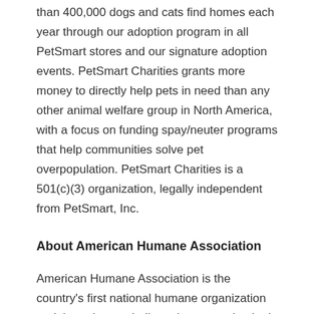than 400,000 dogs and cats find homes each year through our adoption program in all PetSmart stores and our signature adoption events. PetSmart Charities grants more money to directly help pets in need than any other animal welfare group in North America, with a focus on funding spay/neuter programs that help communities solve pet overpopulation. PetSmart Charities is a 501(c)(3) organization, legally independent from PetSmart, Inc.
About American Humane Association
American Humane Association is the country's first national humane organization and the only one dedicated to protecting both children and animals. Since 1877, American Humane Association has been at the forefront of the dialogue on animal protection and...